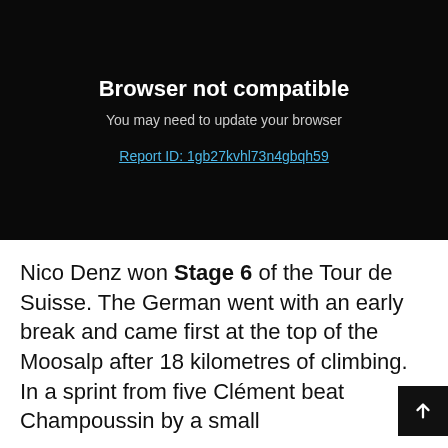[Figure (screenshot): Browser not compatible error screen with dark background. Shows title 'Browser not compatible', subtitle 'You may need to update your browser', and a report ID link 'Report ID: 1gb27kvhl73n4gbqh59']
Nico Denz won Stage 6 of the Tour de Suisse. The German went with an early break and came first at the top of the Moosalp after 18 kilometres of climbing. In a sprint from five Clément beat Champoussin by a small difference...